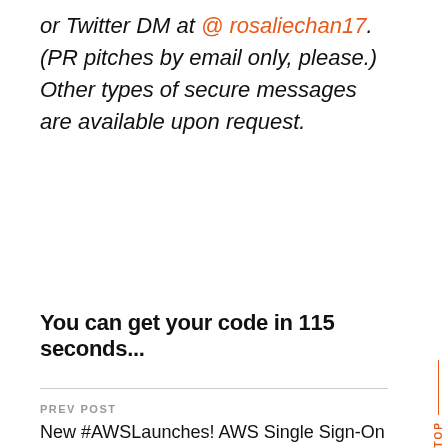or Twitter DM at @ rosaliechan17. (PR pitches by email only, please.) Other types of secure messages are available upon request.
You can get your code in 115 seconds...
PREV POST
New #AWSLaunches! AWS Single Sign-On